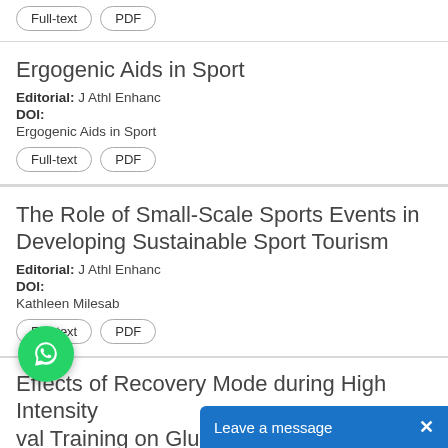Full-text | PDF (top card, partial)
Ergogenic Aids in Sport
Editorial: J Athl Enhanc
DOI:
Ergogenic Aids in Sport
Full-text | PDF
The Role of Small-Scale Sports Events in Developing Sustainable Sport Tourism
Editorial: J Athl Enhanc
DOI:
Kathleen Milesab
Full-text | PDF
Effects of Recovery Mode during High Intensity val Training on Glucoregulatory Hormones glucose Metabolism in Response to Maximal Exercise
Research Article: J Athl Enhanc 20...